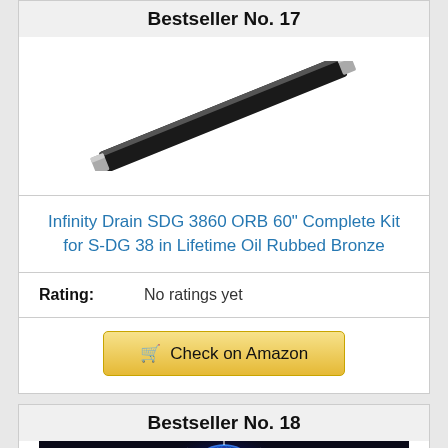Bestseller No. 17
[Figure (photo): Infinity Drain SDG 3860 ORB 60" linear drain in oil rubbed bronze finish, shown at an angle against white background]
Infinity Drain SDG 3860 ORB 60" Complete Kit for S-DG 38 in Lifetime Oil Rubbed Bronze
Rating: No ratings yet
Check on Amazon
Bestseller No. 18
[Figure (photo): Glowing blue and purple disco/party light speaker with colorful LED lights]